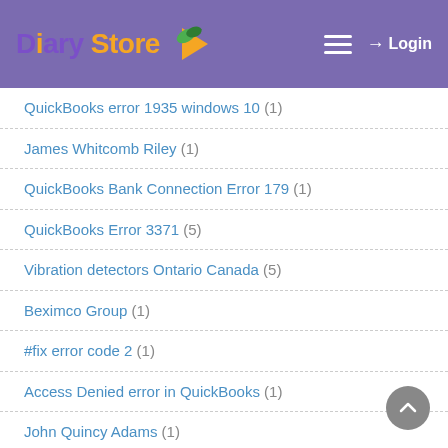Diary Store — Login
QuickBooks error 1935 windows 10 (1)
James Whitcomb Riley (1)
QuickBooks Bank Connection Error 179 (1)
QuickBooks Error 3371 (5)
Vibration detectors Ontario Canada (5)
Beximco Group (1)
#fix error code 2 (1)
Access Denied error in QuickBooks (1)
John Quincy Adams (1)
Erma Bombeck (1)
Best ludo game real money (1)
Special Occasionothers (1)